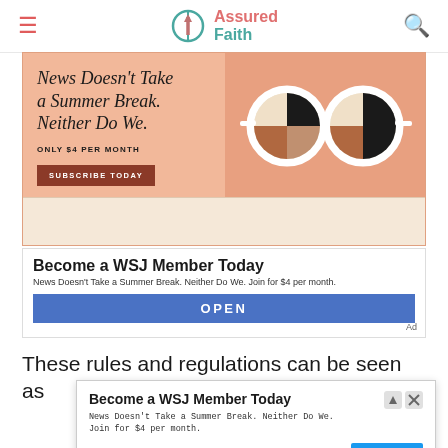Assured Faith
[Figure (infographic): WSJ advertisement: News Doesn't Take a Summer Break. Neither Do We. Only $4 per month. Subscribe Today button. Right side shows illustrated sunglasses with pie-chart lenses on salmon/peach background.]
Become a WSJ Member Today
News Doesn't Take a Summer Break. Neither Do We. Join for $4 per month.
OPEN
Ad
These rules and regulations can be seen as
[Figure (screenshot): WSJ popup ad: Become a WSJ Member Today. News Doesn't Take a Summer Break. Neither Do We. Join for $4 per month. The Wall Street Journal. Open button.]